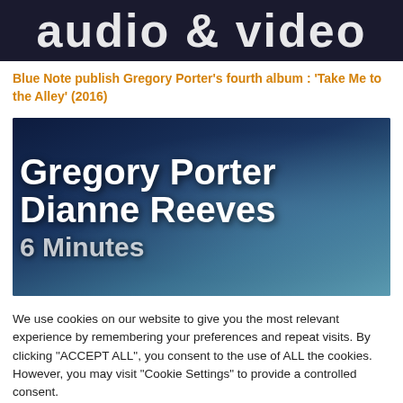[Figure (screenshot): Cropped top portion of a website header showing 'audio & video' text in large white letters on dark background]
Blue Note publish Gregory Porter's fourth album : 'Take Me to the Alley' (2016)
[Figure (screenshot): Concert/performance image with large white bold text overlay reading 'Gregory Porter / Dianne Reeves / 6 Minutes' on dark blue background]
We use cookies on our website to give you the most relevant experience by remembering your preferences and repeat visits. By clicking "ACCEPT ALL", you consent to the use of ALL the cookies. However, you may visit "Cookie Settings" to provide a controlled consent.
Cookie Settings | REJECT ALL | ACCEPT ALL